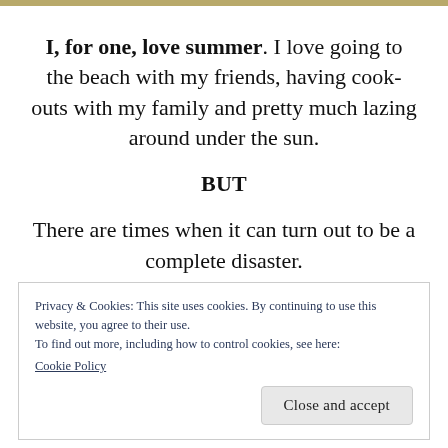I, for one, love summer. I love going to the beach with my friends, having cook-outs with my family and pretty much lazing around under the sun.
BUT
There are times when it can turn out to be a complete disaster.
Privacy & Cookies: This site uses cookies. By continuing to use this website, you agree to their use.
To find out more, including how to control cookies, see here:
Cookie Policy